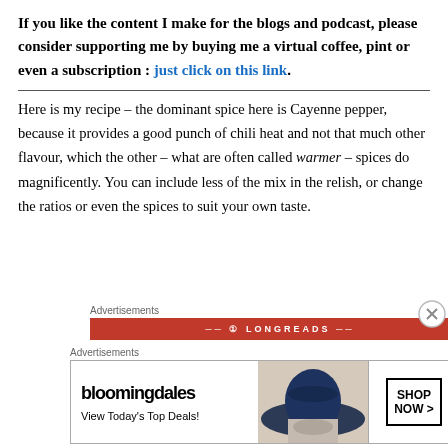If you like the content I make for the blogs and podcast, please consider supporting me by buying me a virtual coffee, pint or even a subscription : just click on this link.
Here is my recipe – the dominant spice here is Cayenne pepper, because it provides a good punch of chili heat and not that much other flavour, which the other – what are often called warmer – spices do magnificently. You can include less of the mix in the relish, or change the ratios or even the spices to suit your own taste.
[Figure (other): Advertisements banner - Longreads red banner advertisement]
[Figure (other): Bloomingdales advertisement banner with shop now button and woman in hat]